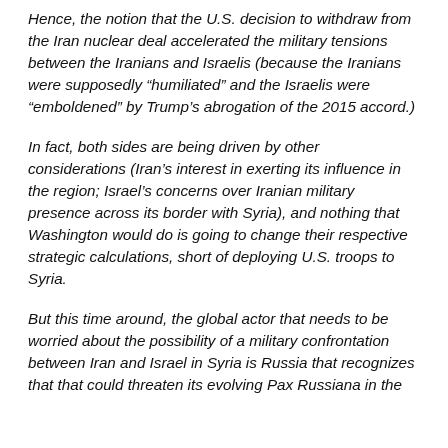Hence, the notion that the U.S. decision to withdraw from the Iran nuclear deal accelerated the military tensions between the Iranians and Israelis (because the Iranians were supposedly “humiliated” and the Israelis were “emboldened” by Trump’s abrogation of the 2015 accord.)
In fact, both sides are being driven by other considerations (Iran’s interest in exerting its influence in the region; Israel’s concerns over Iranian military presence across its border with Syria), and nothing that Washington would do is going to change their respective strategic calculations, short of deploying U.S. troops to Syria.
But this time around, the global actor that needs to be worried about the possibility of a military confrontation between Iran and Israel in Syria is Russia that recognizes that that could threaten its evolving Pax Russiana in the